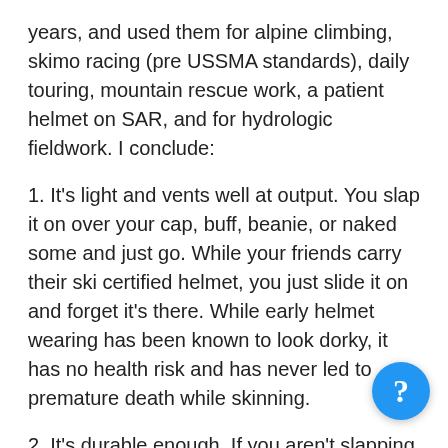years, and used them for alpine climbing, skimo racing (pre USSMA standards), daily touring, mountain rescue work, a patient helmet on SAR, and for hydrologic fieldwork. I conclude:
1. It's light and vents well at output. You slap it on over your cap, buff, beanie, or naked some and just go. While your friends carry their ski certified helmet, you just slide it on and forget it's there. While early helmet wearing has been known to look dorky, it has no health risk and has never led to premature death while skinning.
2. It's durable enough. If you aren't slapping it into the bottom of your pack under crampons and climbing racks, it will not wear rapidly. Also,